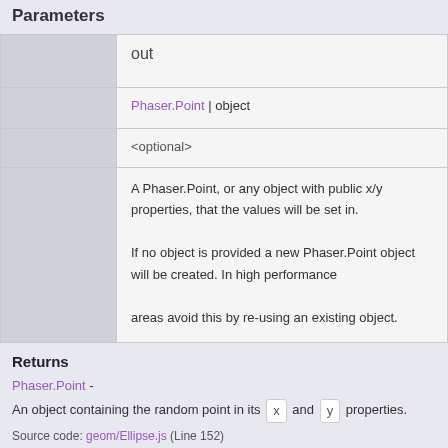Parameters
|  | out |
| --- | --- |
|  | Phaser.Point | object |
|  | <optional> |
|  | A Phaser.Point, or any object with public x/y properties, that the values will be set in. If no object is provided a new Phaser.Point object will be created. In high performance areas avoid this by re-using an existing object. |
Returns
Phaser.Point -
An object containing the random point in its x and y properties.
Source code: geom/Ellipse.js (Line 152)